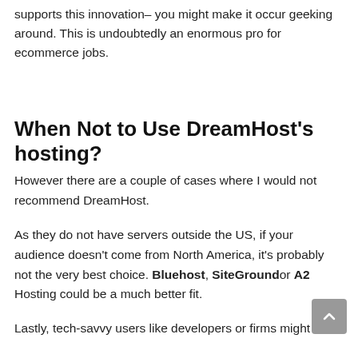supports this innovation– you might make it occur geeking around. This is undoubtedly an enormous pro for ecommerce jobs.
When Not to Use DreamHost's hosting?
However there are a couple of cases where I would not recommend DreamHost.
As they do not have servers outside the US, if your audience doesn't come from North America, it's probably not the very best choice. Bluehost, SiteGroundor A2 Hosting could be a much better fit.
Lastly, tech-savvy users like developers or firms might miss